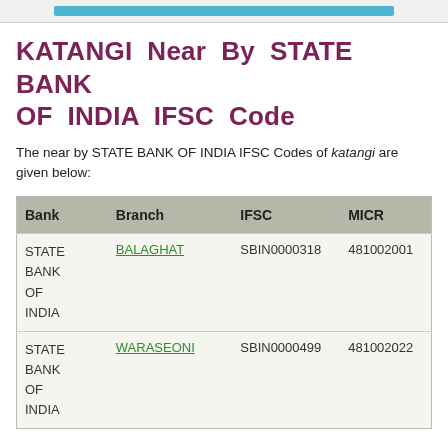KATANGI Near By STATE BANK OF INDIA IFSC Code
The near by STATE BANK OF INDIA IFSC Codes of katangi are given below:
| Bank | Branch | IFSC | MICR |
| --- | --- | --- | --- |
| STATE BANK OF INDIA | BALAGHAT | SBIN0000318 | 481002001 |
| STATE BANK OF INDIA | WARASEONI | SBIN0000499 | 481002022 |